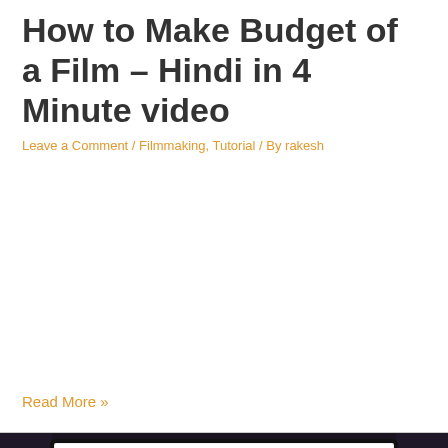How to Make Budget of a Film – Hindi in 4 Minute video
Leave a Comment / Filmmaking, Tutorial / By rakesh
Read More »
[Figure (photo): A clapperboard or film slate display showing text 'How to Release a Film?' in bold black text on a white background, with dark background and partial view of hands or equipment at sides]